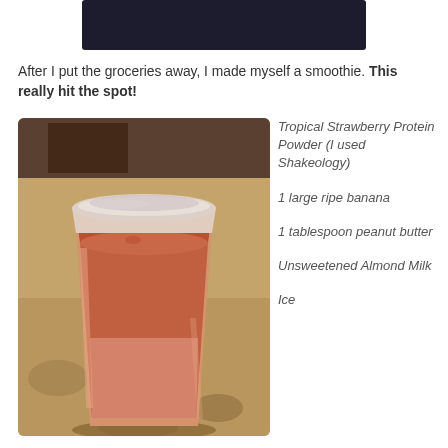[Figure (photo): Dark rectangular image at top of page, partially visible, showing a dark background]
After I put the groceries away, I made myself a smoothie. This really hit the spot!
[Figure (photo): Photo of a large plastic cup filled with a pinkish-orange strawberry banana smoothie, sitting on a granite countertop]
Tropical Strawberry Protein Powder (I used Shakeology)
1 large ripe banana
1 tablespoon peanut butter
Unsweetened Almond Milk
Ice